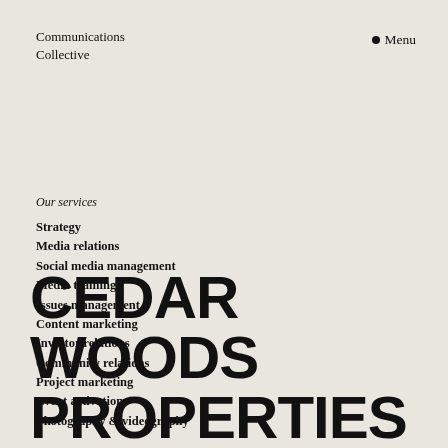Communications Collective
● Menu
Our services
Strategy
Media relations
Social media management
Media training
Issues management
Content marketing
Investor relations
Community relations
Project marketing
Event activations
Photography & videography
CEDAR WOODS PROPERTIES